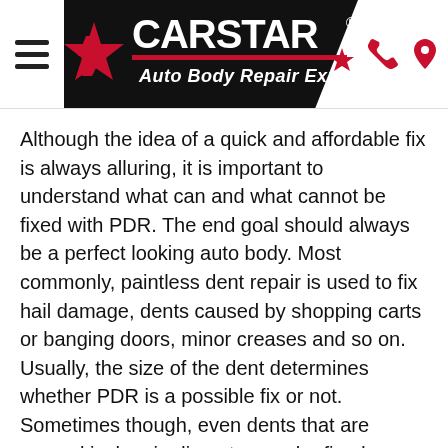[Figure (logo): CARSTAR Auto Body Repair Experts logo with hamburger menu icon on left, black trapezoid background with red star and CARSTAR wordmark, phone and location icons on right]
Although the idea of a quick and affordable fix is always alluring, it is important to understand what can and what cannot be fixed with PDR. The end goal should always be a perfect looking auto body. Most commonly, paintless dent repair is used to fix hail damage, dents caused by shopping carts or banging doors, minor creases and so on. Usually, the size of the dent determines whether PDR is a possible fix or not. Sometimes though, even dents that are several inches in diameter can be fixed through this technique if the paint is not stretched. Shallow large creases can also be repaired with this method, but sharp dents and dings usually require